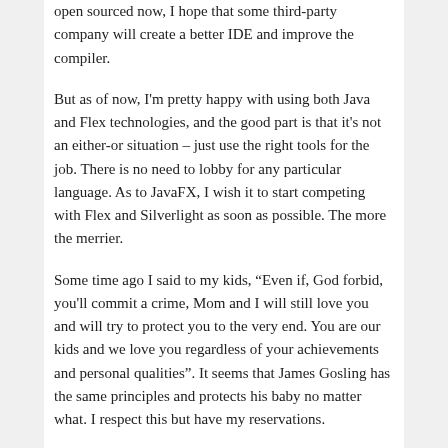open sourced now, I hope that some third-party company will create a better IDE and improve the compiler.
But as of now, I'm pretty happy with using both Java and Flex technologies, and the good part is that it's not an either-or situation – just use the right tools for the job. There is no need to lobby for any particular language. As to JavaFX, I wish it to start competing with Flex and Silverlight as soon as possible. The more the merrier.
Some time ago I said to my kids, “Even if, God forbid, you'll commit a crime, Mom and I will still love you and will try to protect you to the very end. You are our kids and we love you regardless of your achievements and personal qualities". It seems that James Gosling has the same principles and protects his baby no matter what. I respect this but have my reservations.
James Gosling's fan,